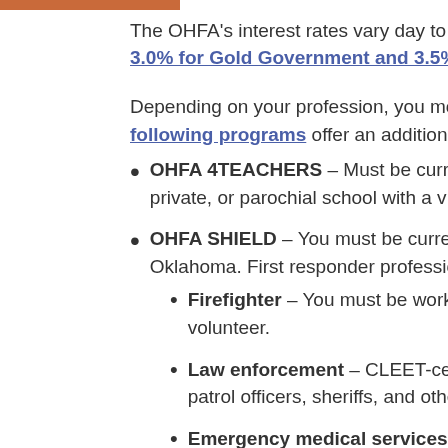The OHFA's interest rates vary day to d...
3.0% for Gold Government and 3.5%...
Depending on your profession, you may qualify. The following programs offer an addition...
OHFA 4TEACHERS – Must be currently employed at a public, private, or parochial school with a v...
OHFA SHIELD – You must be currently employed in Oklahoma. First responder professi...
Firefighter – You must be working... volunteer.
Law enforcement – CLEET-cerit... patrol officers, sheriffs, and othe...
Emergency medical services –